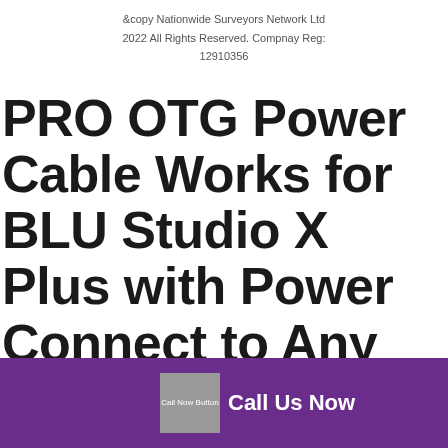&copy Nationwide Surveyors Network Ltd 2022 All Rights Reserved. Compnay Reg: 12910356
PRO OTG Power Cable Works for BLU Studio X Plus with Power Connect to Any Compatible USB Accessory with MicroUSB
[Figure (other): Purple call-to-action banner with 'Call Now Button' icon placeholder and 'Call Us Now' text in white]